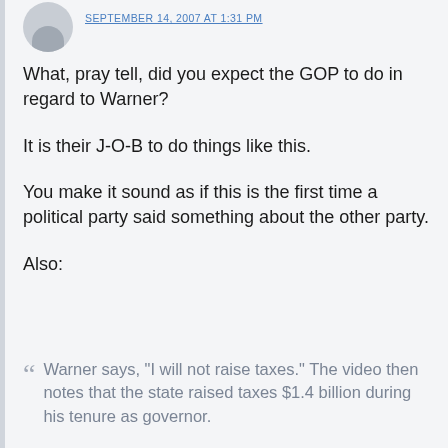SEPTEMBER 14, 2007 AT 1:31 PM
What, pray tell, did you expect the GOP to do in regard to Warner?
It is their J-O-B to do things like this.
You make it sound as if this is the first time a political party said something about the other party.
Also:
Warner says, "I will not raise taxes." The video then notes that the state raised taxes $1.4 billion during his tenure as governor.